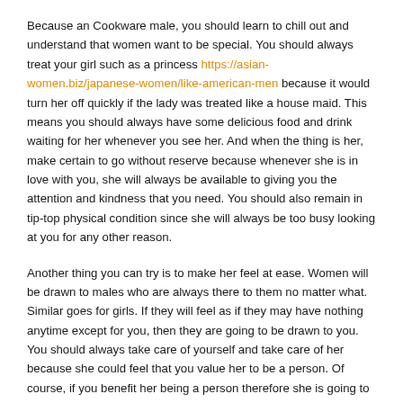Because an Cookware male, you should learn to chill out and understand that women want to be special. You should always treat your girl such as a princess https://asian-women.biz/japanese-women/like-american-men because it would turn her off quickly if the lady was treated like a house maid. This means you should always have some delicious food and drink waiting for her whenever you see her. And when the thing is her, make certain to go without reserve because whenever she is in love with you, she will always be available to giving you the attention and kindness that you need. You should also remain in tip-top physical condition since she will always be too busy looking at you for any other reason.
Another thing you can try is to make her feel at ease. Women will be drawn to males who are always there to them no matter what. Similar goes for girls. If they will feel as if they may have nothing anytime except for you, then they are going to be drawn to you. You should always take care of yourself and take care of her because she could feel that you value her to be a person. Of course, if you benefit her being a person therefore she is going to worth you as a person.
The best tip to attract the best Japanese people girl types should be to make a